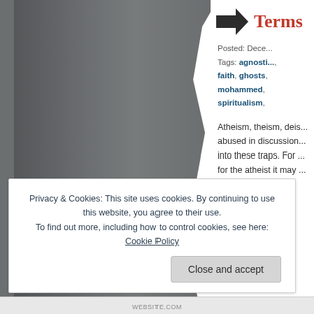[Figure (photo): Dark gray torn-edge decorative image panel on the left side of the page]
Terms
Posted: Dece...
Tags: agnosti..., faith, ghosts,, mohammed,, spiritualism,
Atheism, theism, deis... abused in discussion... into these traps. For ... for the atheist it may ...
On to business...
Privacy & Cookies: This site uses cookies. By continuing to use this website, you agree to their use.
To find out more, including how to control cookies, see here: Cookie Policy
Close and accept
WEBSITE.COM